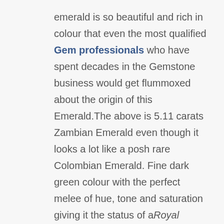emerald is so beautiful and rich in colour that even the most qualified Gem professionals who have spent decades in the Gemstone business would get flummoxed about the origin of this Emerald.The above is 5.11 carats Zambian Emerald even though it looks a lot like a posh rare Colombian Emerald. Fine dark green colour with the perfect melee of hue, tone and saturation giving it the status of a Royal Gemstone.Perfectly proportioned Emerald cut making the maximum play of light possible. High clarity of over 90% and freedom from flaws as listed in the sacred texts make is saatvik (pure) Jyotish